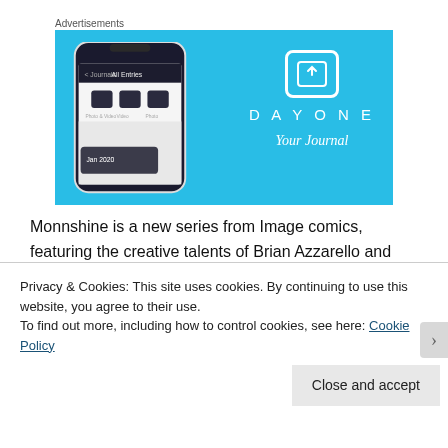Advertisements
[Figure (screenshot): Advertisement banner for Day One journal app showing a smartphone screenshot of the app interface on a light blue background with the Day One logo and tagline 'Your Journal']
Monnshine is a new series from Image comics, featuring the creative talents of Brian Azzarello and Eduardo Risso. The series is set in the U.S during the
Privacy & Cookies: This site uses cookies. By continuing to use this website, you agree to their use.
To find out more, including how to control cookies, see here: Cookie Policy
Close and accept